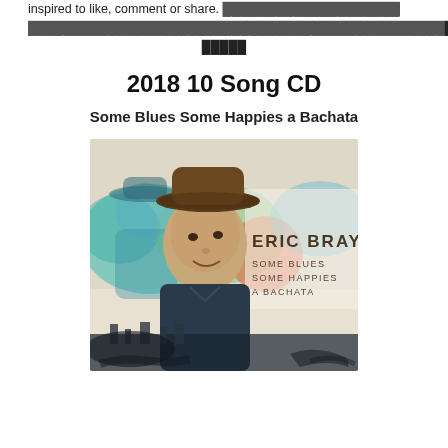inspired to like, comment or share. ███████████████████████████████████████████████████████████ (██)██ █████
2018 10 Song CD
Some Blues Some Happies a Bachata
[Figure (photo): Album cover for Eric Bray 'Some Blues Some Happies a Bachata' — shows a man wearing a brown fedora hat with colorful watercolor splashes, text reads ERIC BRAY SOME BLUES SOME HAPPIES A BACHATA]